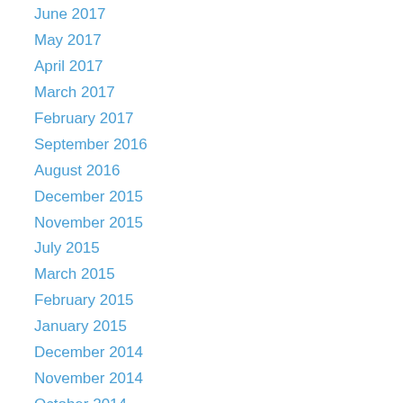June 2017
May 2017
April 2017
March 2017
February 2017
September 2016
August 2016
December 2015
November 2015
July 2015
March 2015
February 2015
January 2015
December 2014
November 2014
October 2014
September 2014
August 2014
July 2014
June 2014